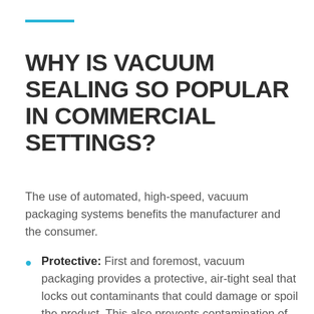WHY IS VACUUM SEALING SO POPULAR IN COMMERCIAL SETTINGS?
The use of automated, high-speed, vacuum packaging systems benefits the manufacturer and the consumer.
Protective: First and foremost, vacuum packaging provides a protective, air-tight seal that locks out contaminants that could damage or spoil the product. This also prevents contamination of food and beverage products and helps extend the shelf life because vacuum sealing works by